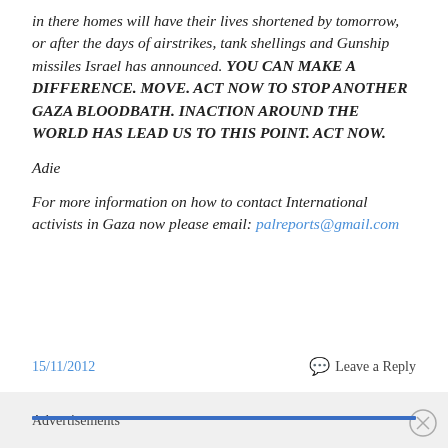in there homes will have their lives shortened by tomorrow, or after the days of airstrikes, tank shellings and Gunship missiles Israel has announced. YOU CAN MAKE A DIFFERENCE. MOVE. ACT NOW TO STOP ANOTHER GAZA BLOODBATH. INACTION AROUND THE WORLD HAS LEAD US TO THIS POINT. ACT NOW.
Adie
For more information on how to contact International activists in Gaza now please email: palreports@gmail.com
15/11/2012    Leave a Reply
Advertisements